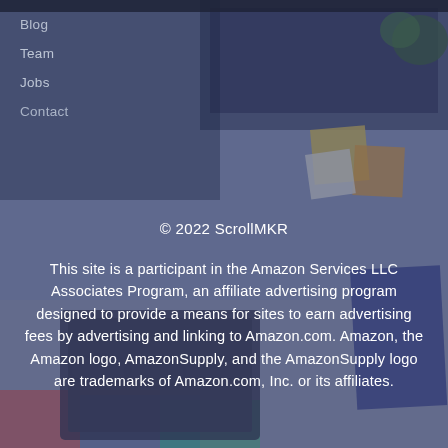Blog
Team
Jobs
Contact
© 2022 ScrollMKR
This site is a participant in the Amazon Services LLC Associates Program, an affiliate advertising program designed to provide a means for sites to earn advertising fees by advertising and linking to Amazon.com. Amazon, the Amazon logo, AmazonSupply, and the AmazonSupply logo are trademarks of Amazon.com, Inc. or its affiliates.